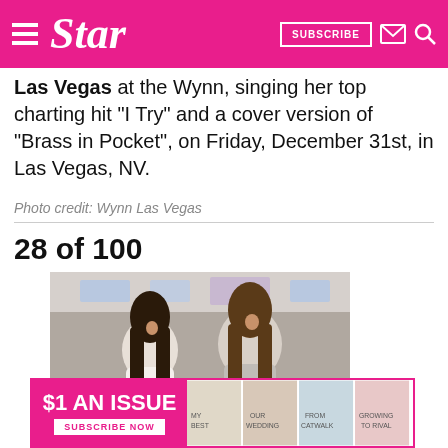Star — SUBSCRIBE
Las Vegas at the Wynn, singing her top charting hit “I Try” and a cover version of “Brass in Pocket”, on Friday, December 31st, in Las Vegas, NV.
Photo credit: Wynn Las Vegas
28 of 100
[Figure (photo): Two women smiling at a photo event; woman on left in white dress, woman on right in grey outfit, holding a red ornament.]
$1 AN ISSUE — SUBSCRIBE NOW